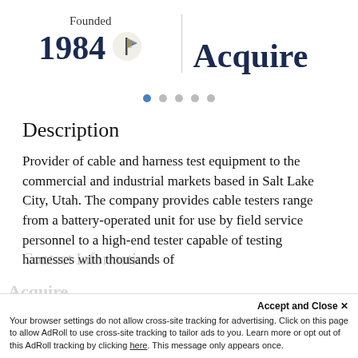Founded
1984
Acquire
Description
Provider of cable and harness test equipment to the commercial and industrial markets based in Salt Lake City, Utah. The company provides cable testers range from a battery-operated unit for use by field service personnel to a high-end tester capable of testing harnesses with thousands of
Accept and Close ✕
Your browser settings do not allow cross-site tracking for advertising. Click on this page to allow AdRoll to use cross-site tracking to tailor ads to you. Learn more or opt out of this AdRoll tracking by clicking here. This message only appears once.